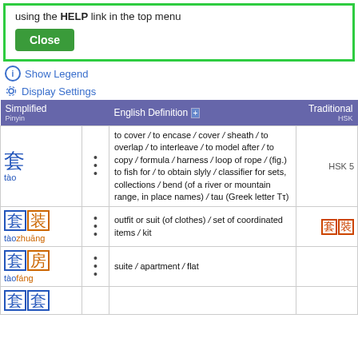More information about this dictionary can be found using the HELP link in the top menu
Close
Show Legend
Display Settings
| Simplified
Pinyin |  | English Definition | Traditional
HSK |
| --- | --- | --- | --- |
| 套
tào | ••• | to cover / to encase / cover / sheath / to overlap / to interleave / to model after / to copy / formula / harness / loop of rope / (fig.) to fish for / to obtain slyly / classifier for sets, collections / bend (of a river or mountain range, in place names) / tau (Greek letter Ττ) | HSK 5 |
| 套装
tàozhuāng | ••• | outfit or suit (of clothes) / set of coordinated items / kit | 套裝 |
| 套房
tàofáng | ••• | suite / apartment / flat |  |
| 套 |  |  |  |